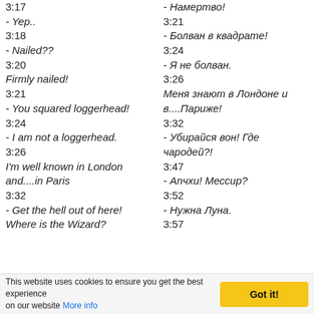3:17
- Yep..
3:18
- Nailed??
3:20
Firmly nailed!
3:21
- You squared loggerhead!
3:24
- I am not a loggerhead.
3:26
I'm well known in London and....in Paris
3:32
- Get the hell out of here! Where is the Wizard?
- Намертво!
3:21
- Болван в квадрате!
3:24
- Я не болван.
3:26
Меня знают в Лондоне и в....Париже!
3:32
- Убирайся вон! Где чародей?!
3:47
- Апчхи! Мессир?
3:52
- Нужна Луна.
3:57
This website uses cookies to ensure you get the best experience on our website More info  Got it!